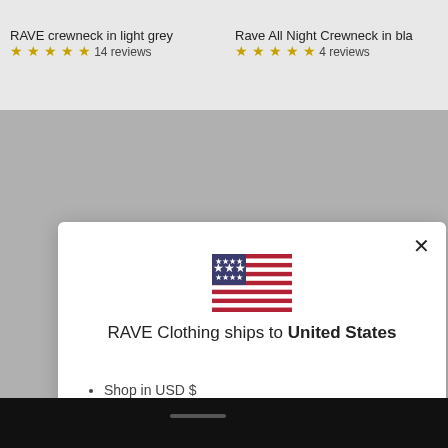RAVE crewneck in light grey
★★★★★ 14 reviews
Rave All Night Crewneck in bla
★★★★★ 4 reviews
[Figure (screenshot): Modal dialog with US flag, shipping info, Shop now button and Change shipping country link]
RAVE Clothing ships to United States
Shop in USD $
Get shipping options for United States
Shop now
Change shipping country